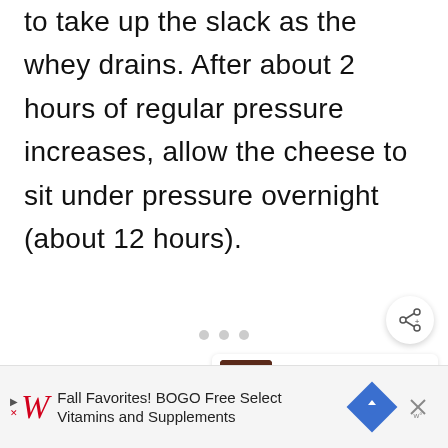to take up the slack as the whey drains. After about 2 hours of regular pressure increases, allow the cheese to sit under pressure overnight (about 12 hours).
[Figure (other): Share button (circular white button with share icon)]
[Figure (other): What's Next card showing Chokecherry Jelly thumbnail and text]
[Figure (other): Three dot pagination indicator]
[Figure (other): Walgreens advertisement banner: Fall Favorites! BOGO Free Select Vitamins and Supplements]